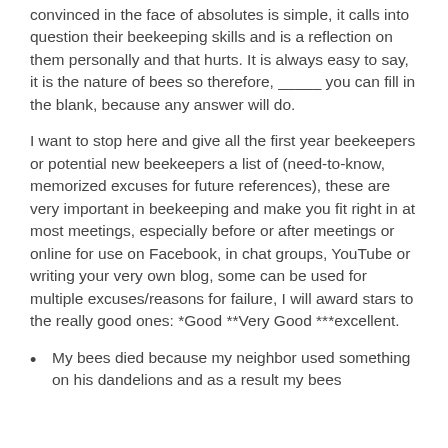convinced in the face of absolutes is simple, it calls into question their beekeeping skills and is a reflection on them personally and that hurts. It is always easy to say, it is the nature of bees so therefore, _____ you can fill in the blank, because any answer will do.
I want to stop here and give all the first year beekeepers or potential new beekeepers a list of (need-to-know, memorized excuses for future references), these are very important in beekeeping and make you fit right in at most meetings, especially before or after meetings or online for use on Facebook, in chat groups, YouTube or writing your very own blog, some can be used for multiple excuses/reasons for failure, I will award stars to the really good ones: *Good **Very Good ***excellent.
My bees died because my neighbor used something on his dandelions and as a result my bees